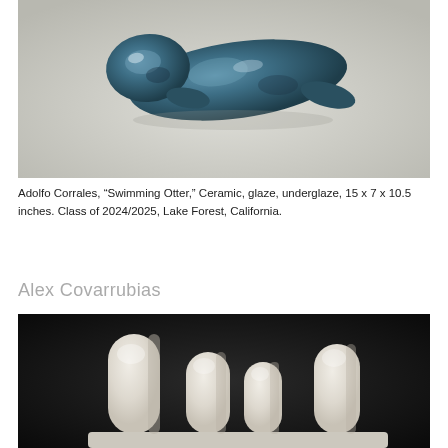[Figure (photo): A ceramic sculpture of a swimming otter with blue-green glaze on a light beige background]
Adolfo Corrales, “Swimming Otter,” Ceramic, glaze, underglaze, 15 x 7 x 10.5 inches. Class of 2024/2025, Lake Forest, California.
Alex Covarrubias
[Figure (photo): White ceramic hand or finger-like sculptural forms arranged against a dark background]